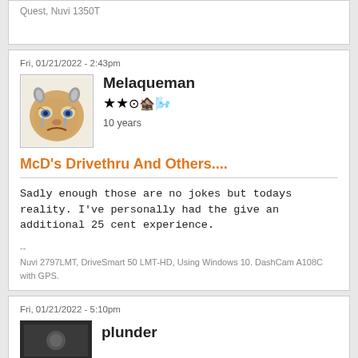Quest, Nuvi 1350T
Fri, 01/21/2022 - 2:43pm
[Figure (photo): Avatar image of Melaqueman: a 3D cartoon face with horns]
Melaqueman
★★ [compass icon] [barn icon] [windmill icon]
10 years
McD's Drivethru And Others....
Sadly enough those are no jokes but todays reality. I've personally had the give an additional 25 cent experience.
--
Nuvi 2797LMT, DriveSmart 50 LMT-HD, Using Windows 10. DashCam A108C with GPS.
Fri, 01/21/2022 - 5:10pm
plunder